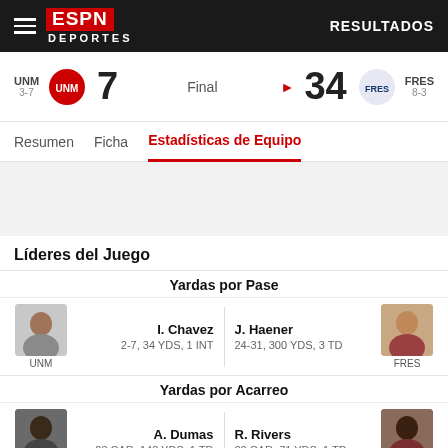ESPN Deportes | RESULTADOS
UNM 3-7  7  Final  ▶ 34  FRES 8-3
Resumen  Ficha  Estadísticas de Equipo
Líderes del Juego
Yardas por Pase
I. Chavez
2-7, 34 YDS, 1 INT
J. Haener
24-31, 300 YDS, 3 TD
Yardas por Acarreo
A. Dumas
23 CAR, 143 YDS, 1 TD
R. Rivers
20 CAR, 71 YDS, 1 TD